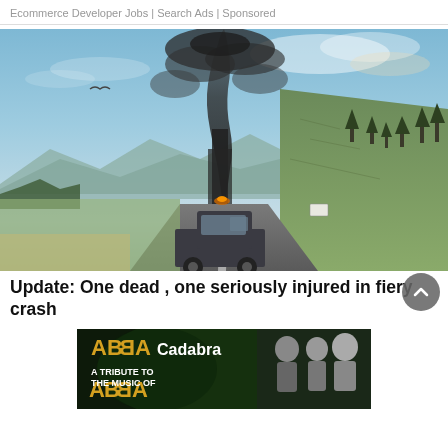Ecommerce Developer Jobs | Search Ads | Sponsored
[Figure (photo): A pickup truck driving on a highway with a large dark smoke plume rising from it. Mountains and trees visible in background under a blue sky with clouds.]
Update: One dead , one seriously injured in fiery crash
[Figure (photo): Advertisement banner for ABBA Cadabra - A Tribute to the Music of ABBA, showing the band members and ABBA-style logo on a dark green background.]